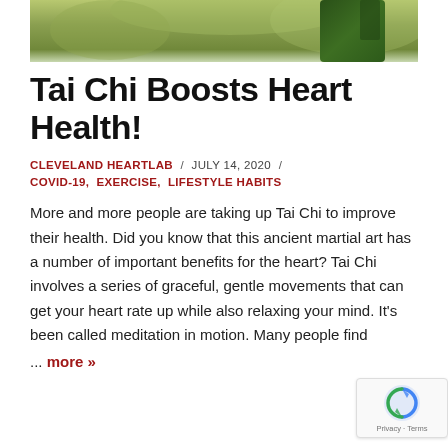[Figure (photo): Partial photo of a person in a green jacket performing Tai Chi outdoors with autumn foliage background]
Tai Chi Boosts Heart Health!
CLEVELAND HEARTLAB  /  JULY 14, 2020  /  COVID-19,  EXERCISE,  LIFESTYLE HABITS
More and more people are taking up Tai Chi to improve their health. Did you know that this ancient martial art has a number of important benefits for the heart? Tai Chi involves a series of graceful, gentle movements that can get your heart rate up while also relaxing your mind. It's been called meditation in motion. Many people find
... more »